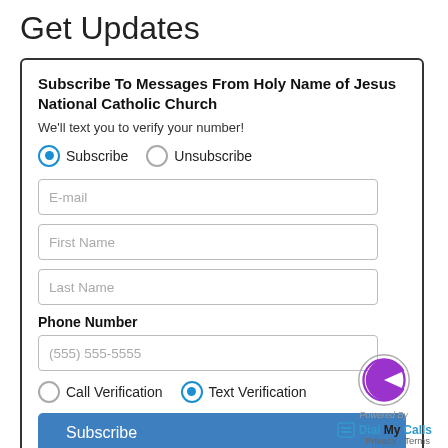Get Updates
Subscribe To Messages From Holy Name of Jesus National Catholic Church
We'll text you to verify your number!
Subscribe  Unsubscribe
E-mail
First Name
Last Name
Phone Number
(555) 555-5555
Call Verification  Text Verification
Subscribe
[Figure (logo): DialMyCalls logo with purple pac-man style icon in a circle, and 'Powered By DialMyCalls' text]
Privacy  Terms